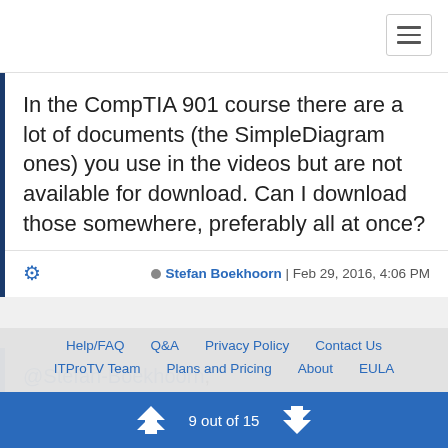[Figure (screenshot): Top navigation bar with hamburger menu icon]
In the CompTIA 901 course there are a lot of documents (the SimpleDiagram ones) you use in the videos but are not available for download. Can I download those somewhere, preferably all at once?
Stefan Boekhoorn | Feb 29, 2016, 4:06 PM
@Stefan-Boekhoorn,

I don't know if we have a system for for downloading all the notes at one time. Most of what we have for notes should be downloadable (it should show up as a...
Help/FAQ  Q&A  Privacy Policy  Contact Us  ITProTV Team  Plans and Pricing  About  EULA
9 out of 15